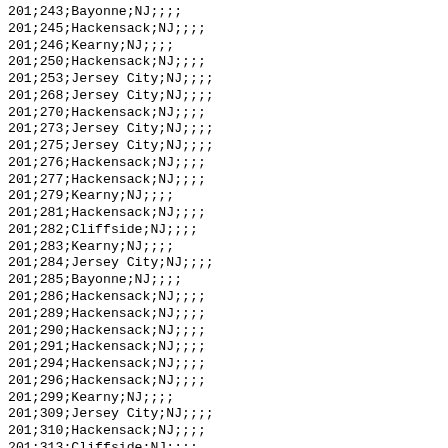201;243;Bayonne;NJ;;;;
201;245;Hackensack;NJ;;;;
201;246;Kearny;NJ;;;;
201;250;Hackensack;NJ;;;;
201;253;Jersey City;NJ;;;;
201;268;Jersey City;NJ;;;;
201;270;Hackensack;NJ;;;;
201;273;Jersey City;NJ;;;;
201;275;Jersey City;NJ;;;;
201;276;Hackensack;NJ;;;;
201;277;Hackensack;NJ;;;;
201;279;Kearny;NJ;;;;
201;281;Hackensack;NJ;;;;
201;282;Cliffside;NJ;;;;
201;283;Kearny;NJ;;;;
201;284;Jersey City;NJ;;;;
201;285;Bayonne;NJ;;;;
201;286;Hackensack;NJ;;;;
201;289;Hackensack;NJ;;;;
201;290;Hackensack;NJ;;;;
201;291;Hackensack;NJ;;;;
201;294;Hackensack;NJ;;;;
201;296;Hackensack;NJ;;;;
201;299;Kearny;NJ;;;;
201;309;Jersey City;NJ;;;;
201;310;Hackensack;NJ;;;;
201;313;Cliffside;NJ;;;;
201;314;Hackensack;NJ;;;;
201;315;Hackensack;NJ;;;;
201;318;Jersey City;NJ;;;;